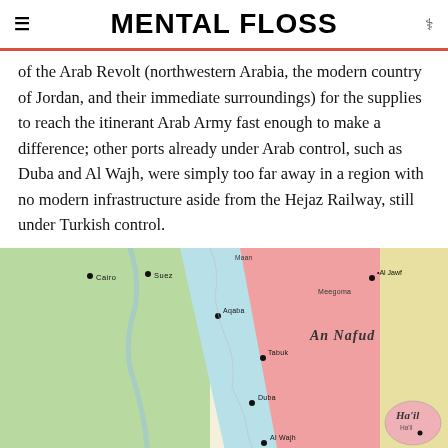MENTAL FLOSS
of the Arab Revolt (northwestern Arabia, the modern country of Jordan, and their immediate surroundings) for the supplies to reach the itinerant Arab Army fast enough to make a difference; other ports already under Arab control, such as Duba and Al Wajh, were simply too far away in a region with no modern infrastructure aside from the Hejaz Railway, still under Turkish control.
[Figure (map): Map showing the Arabian Peninsula region including Egypt, Hejaz, An Nafud, and surrounding areas. Shows locations of Cairo, Suez, Aqaba, Tabuk, Duba, Al Wajh, Um Lajj, Medina, Khaybar, Al Hanakiyah, Al Jawf, Meegoma, Ha'il. The Hejaz region is shaded pink/red, Egypt area is green, An Nafud area is yellow, and the Red Sea is light blue.]